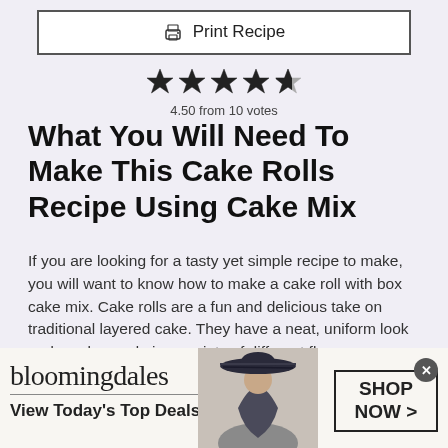[Figure (other): Print Recipe button with printer icon]
[Figure (other): Star rating: 4.50 out of 5 stars, 4.5 filled stars shown]
4.50 from 10 votes
What You Will Need To Make This Cake Rolls Recipe Using Cake Mix
If you are looking for a tasty yet simple recipe to make, you will want to know how to make a cake roll with box cake mix. Cake rolls are a fun and delicious take on traditional layered cake. They have a neat, uniform look and can be made in a variety of different flavors.
Prep Time
[Figure (other): Bloomingdales advertisement banner: logo, 'View Today's Top Deals!', woman with hat, SHOP NOW > button]